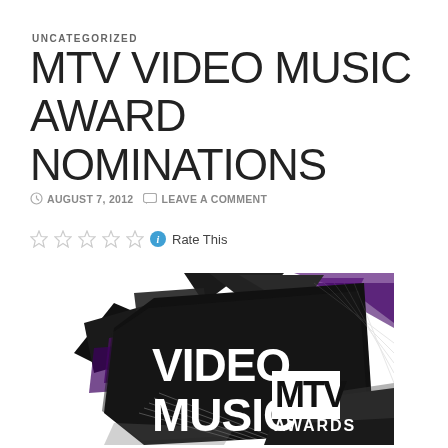UNCATEGORIZED
MTV VIDEO MUSIC AWARD NOMINATIONS
AUGUST 7, 2012   LEAVE A COMMENT
Rate This
[Figure (logo): MTV Video Music Awards logo — black angular geometric shapes with purple accents, white bold text reading VIDEO MUSIC with MTV logo and AWARDS]